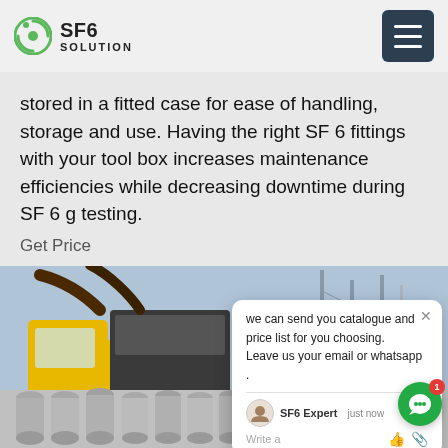SF6 SOLUTION
stored in a fitted case for ease of handling, storage and use. Having the right SF 6 fittings with your tool box increases maintenance efficiencies while decreasing downtime during SF 6 g testing.
Get Price
[Figure (photo): Yellow utility truck with SF6 gas handling equipment in an electrical substation, with rows of gray gas cylinders in the foreground.]
we can send you catalogue and price list for you choosing.
Leave us your email or whatsapp .

SF6 Expert    just now
Write a